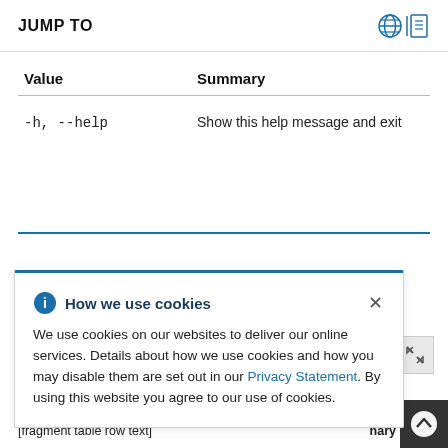JUMP TO
| Value | Summary |
| --- | --- |
| -h, --help | Show this help message and exit |
How we use cookies — We use cookies on our websites to deliver our online services. Details about how we use cookies and how you may disable them are set out in our Privacy Statement. By using this website you agree to our use of cookies.
[fragment of bottom row text]